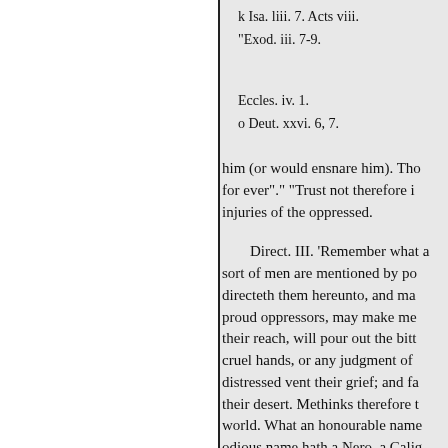k Isa. liii. 7. Acts viii.
"Exod. iii. 7-9.
Eccles. iv. 1.
o Deut. xxvi. 6, 7.
him (or would ensnare him). Tho for ever"." "Trust not therefore i injuries of the oppressed.
Direct. III. 'Remember what a sort of men are mentioned by po directeth them hereunto, and ma proud oppressors, may make me their reach, will pour out the bitt cruel hands, or any judgment of distressed vent their grief; and fa their desert. Methinks therefore t world. What an honourable name odious name hath a Nero, a Calig and to have a glorious name surv memory abominable; so much de
Direct. IV. Be not strangers to